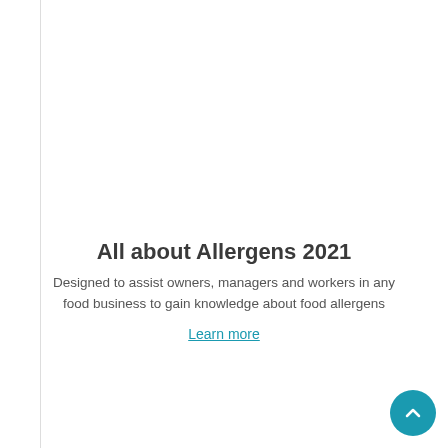All about Allergens 2021
Designed to assist owners, managers and workers in any food business to gain knowledge about food allergens
Learn more